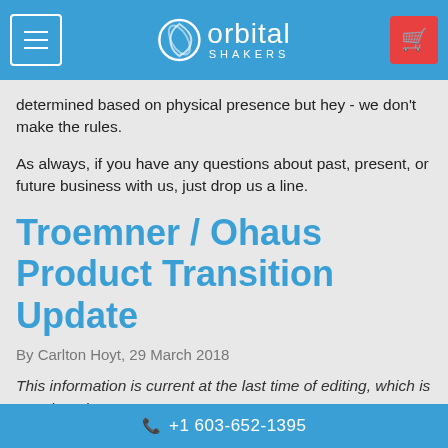Orbital Shakers
determined based on physical presence but hey - we don't make the rules.
As always, if you have any questions about past, present, or future business with us, just drop us a line.
Troemner / Ohaus Product Transition Update
By Carlton Hoyt, 29 March 2018
This information is current at the last time of editing, which is March 29th, 2018.
As we mentioned early last month, much of the Troemner / Talboys laboratory equipment line will be transitioning to the
+1 603-652-1395